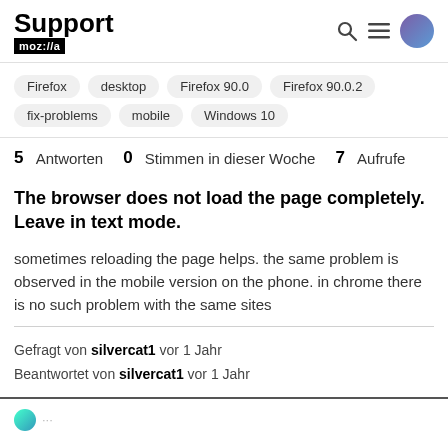Support mozilla
Firefox
desktop
Firefox 90.0
Firefox 90.0.2
fix-problems
mobile
Windows 10
5 Antworten  0 Stimmen in dieser Woche  7 Aufrufe
The browser does not load the page completely. Leave in text mode.
sometimes reloading the page helps. the same problem is observed in the mobile version on the phone. in chrome there is no such problem with the same sites
Gefragt von silvercat1 vor 1 Jahr
Beantwortet von silvercat1 vor 1 Jahr